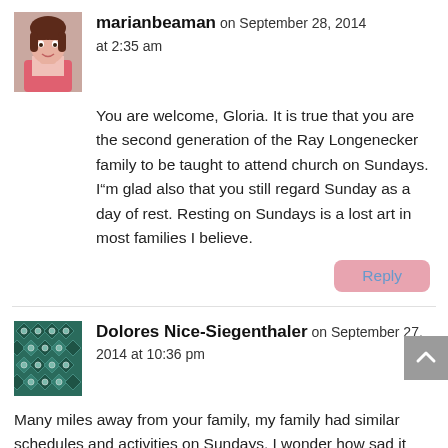[Figure (photo): Avatar photo of marian beaman, a woman in a pink top]
marianbeaman on September 28, 2014 at 2:35 am
You are welcome, Gloria. It is true that you are the second generation of the Ray Longenecker family to be taught to attend church on Sundays. I”m glad also that you still regard Sunday as a day of rest. Resting on Sundays is a lost art in most families I believe.
Reply
[Figure (illustration): Avatar quilt-pattern graphic for Dolores Nice-Siegenthaler, dark teal/green geometric pattern]
Dolores Nice-Siegenthaler on September 27, 2014 at 10:36 pm
Many miles away from your family, my family had similar schedules and activities on Sundays. I wonder how sad it might have felt to leave the hay in the field, untouched, even